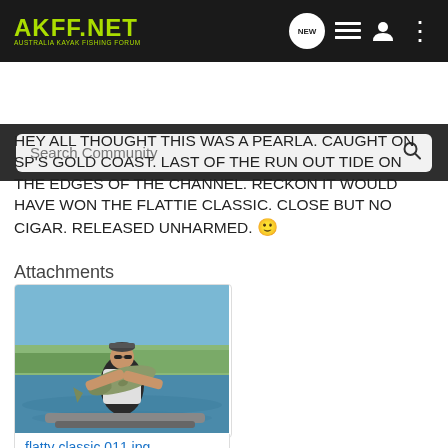[Figure (screenshot): AKFF.NET Australia Kayak Fishing Forum navigation bar with logo, new message bubble, list icon, user icon, and more options]
[Figure (screenshot): Search Community search bar on dark background]
HEY ALL THOUGHT THIS WAS A PEARLA. CAUGHT ON SP'S GOLD COAST. LAST OF THE RUN OUT TIDE ON THE EDGES OF THE CHANNEL. RECKON IT WOULD HAVE WON THE FLATTIE CLASSIC. CLOSE BUT NO CIGAR. RELEASED UNHARMED. 🙂
Attachments
[Figure (photo): Photo of a person on a boat holding up a large flathead fish, with water and trees in the background]
flatty classic 011.jpg
66.2 KB    Views: 3,713